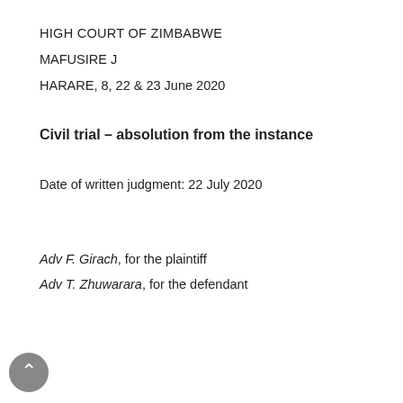HIGH COURT OF ZIMBABWE
MAFUSIRE J
HARARE, 8, 22 & 23 June 2020
Civil trial – absolution from the instance
Date of written judgment: 22 July 2020
Adv F. Girach, for the plaintiff
Adv T. Zhuwarara, for the defendant